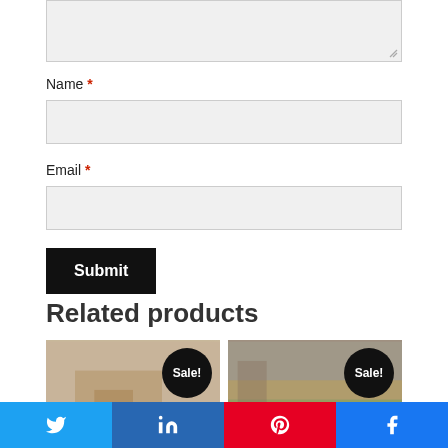[Figure (screenshot): Textarea input field (grey, partially visible at top)]
Name *
[Figure (screenshot): Name input field (grey, empty)]
Email *
[Figure (screenshot): Email input field (grey, empty)]
[Figure (screenshot): Submit button (black with white bold text)]
Related products
[Figure (photo): Left product image with Sale! badge]
[Figure (photo): Right product image with Sale! badge]
[Figure (screenshot): Social sharing bar with Twitter, LinkedIn, Pinterest, Facebook buttons]